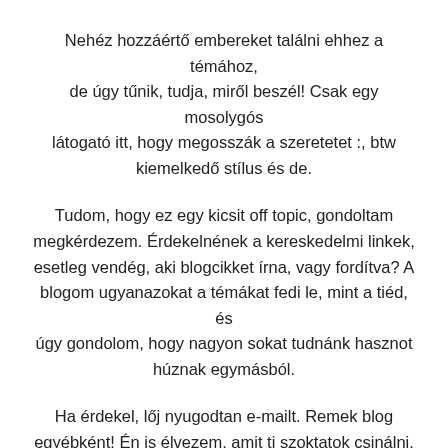Nehéz hozzáértő embereket találni ehhez a témához, de úgy tűnik, tudja, miről beszél! Csak egy mosolygós látogató itt, hogy megosszák a szeretetet :, btw kiemelkedő stílus és de.
Tudom, hogy ez egy kicsit off topic, gondoltam megkérdezem. Érdekelnének a kereskedelmi linkek, esetleg vendég, aki blogcikket írna, vagy fordítva? A blogom ugyanazokat a témákat fedi le, mint a tiéd, és úgy gondolom, hogy nagyon sokat tudnánk hasznot húznak egymásból.
Ha érdekel, lőj nyugodtan e-mailt. Remek blog egyébként! Én is élvezem, amit ti szoktatok csinálni. Ilyen okos munka és lefedettség!